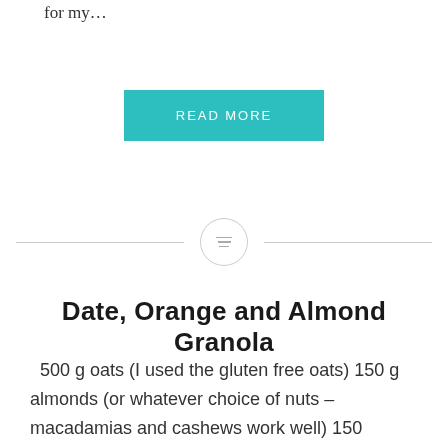for my…
READ MORE
[Figure (other): Horizontal divider with a small circle icon in the center containing three lines (menu/list icon)]
Date, Orange and Almond Granola
500 g oats (I used the gluten free oats) 150 g almonds (or whatever choice of nuts – macadamias and cashews work well) 150 sunflower seeds 50g shredded or dessicated coconut 10g cinnamon ½ cup coconut oil 40 g maple syrup 1 tsp vanilla essence/paste/pod 3/4